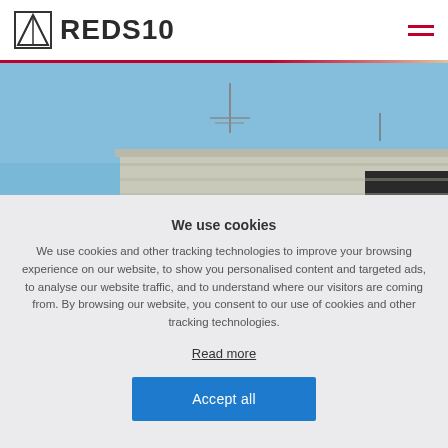[Figure (logo): REDS10 company logo with triangular icon and bold text]
[Figure (photo): Photograph of a modern industrial/commercial building with flat roof against a blue sky]
We use cookies
We use cookies and other tracking technologies to improve your browsing experience on our website, to show you personalised content and targeted ads, to analyse our website traffic, and to understand where our visitors are coming from. By browsing our website, you consent to our use of cookies and other tracking technologies.
Read more
Accept all